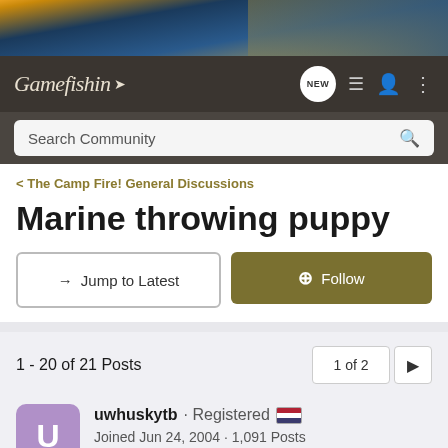[Figure (photo): Header banner image of fishing equipment/reel with golden and teal colors]
Gamefishin NEW
Search Community
< The Camp Fire! General Discussions
Marine throwing puppy
→ Jump to Latest
+ Follow
1 - 20 of 21 Posts
1 of 2
uwhuskytb · Registered 🇺🇸
Joined Jun 24, 2004 · 1,091 Posts
Discussion Starter · #1 · Mar 4, 2008